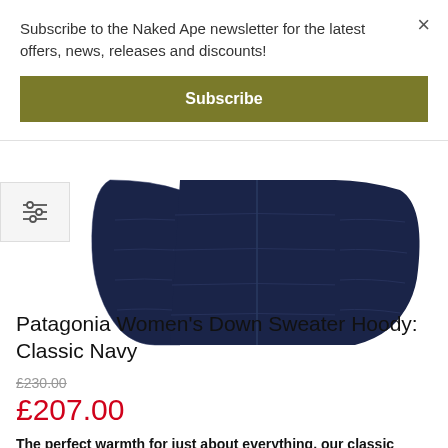Subscribe to the Naked Ape newsletter for the latest offers, news, releases and discounts!
[Figure (other): Olive/dark yellow-green Subscribe button]
[Figure (photo): Navy blue Patagonia Women's Down Sweater Hoody jacket, showing the torso and arms from a front/bottom view. The jacket is a quilted puffer style in classic navy color.]
Patagonia Women's Down Sweater Hoody: Classic Navy
£230.00
£207.00
The perfect warmth for just about everything, our classic Down